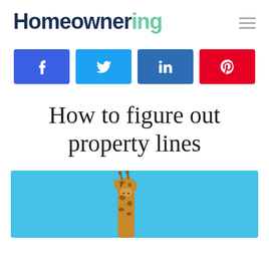Homeownering
[Figure (infographic): Social share buttons: Facebook, Twitter, LinkedIn, Pinterest]
How to figure out property lines
[Figure (photo): Photo of a giraffe head against a bright blue sky background]